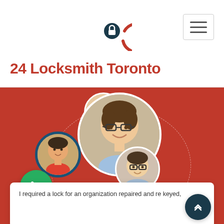24 Locksmith Toronto
[Figure (screenshot): Website screenshot showing 24 Locksmith Toronto header with logo, navigation hamburger menu, red section with circular profile photos of people connected by dashed circles, a green phone call button, a dark teal scroll-to-top button, and a white testimonial card at bottom.]
I required a lock for an organization repaired and re keyed,